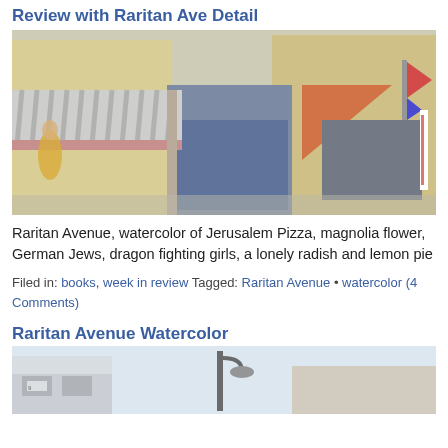Review with Raritan Ave Detail
[Figure (illustration): Watercolor painting of Raritan Avenue storefronts including striped awnings, a blue storefront, orange triangular sign, barber pole, and a figure in yellow on the left side]
Raritan Avenue, watercolor of Jerusalem Pizza, magnolia flower, German Jews, dragon fighting girls, a lonely radish and lemon pie
Filed in: books, week in review Tagged: Raritan Avenue • watercolor (4 Comments)
Raritan Avenue Watercolor
[Figure (illustration): Partial watercolor painting of Raritan Avenue showing buildings and a street lamp, cropped at bottom of page]